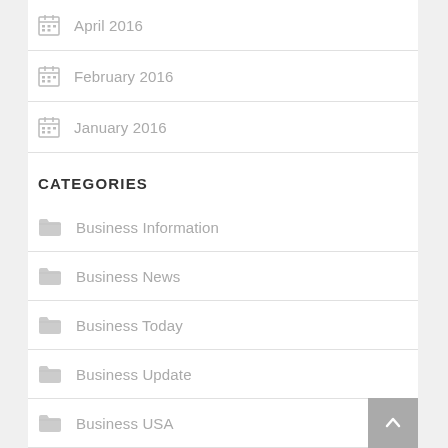April 2016
February 2016
January 2016
CATEGORIES
Business Information
Business News
Business Today
Business Update
Business USA
Company News